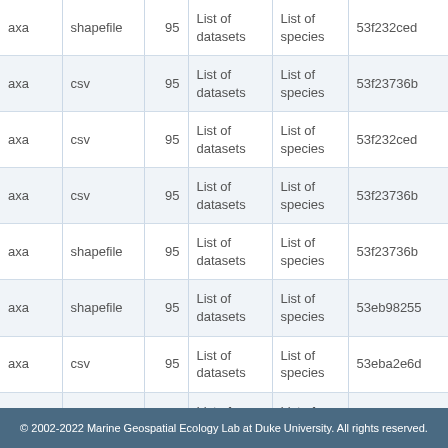| ...axa | format | count | datasets | species | id |
| --- | --- | --- | --- | --- | --- |
| axa | shapefile | 95 | List of datasets | List of species | 53f232ced |
| axa | csv | 95 | List of datasets | List of species | 53f23736b |
| axa | csv | 95 | List of datasets | List of species | 53f232ced |
| axa | csv | 95 | List of datasets | List of species | 53f23736b |
| axa | shapefile | 95 | List of datasets | List of species | 53f23736b |
| axa | shapefile | 95 | List of datasets | List of species | 53eb98255 |
| axa | csv | 95 | List of datasets | List of species | 53eba2e6d |
| axa | csv | 95 | List of datasets | List of species | 53d8f2722 |
| axa | shapefile | 95 | List of datasets | List of species | 53d8f2722 |
| axa | shapefile | 95 | List of... | List of... | 53ca47ca4 |
© 2002-2022 Marine Geospatial Ecology Lab at Duke University. All rights reserved.